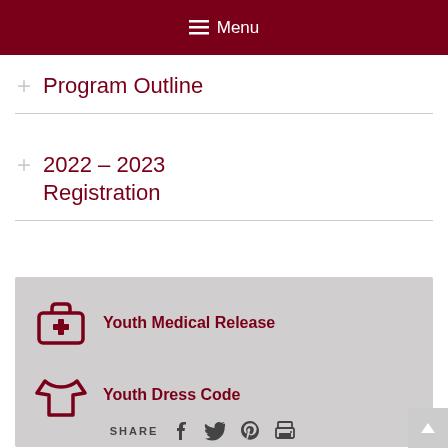Menu
+ Program Outline
+ 2022 – 2023 Registration
[Figure (infographic): Gray box with two resource links: Youth Medical Release (medical kit icon) and Youth Dress Code (t-shirt icon)]
SHARE [facebook] [twitter] [pinterest] [print]